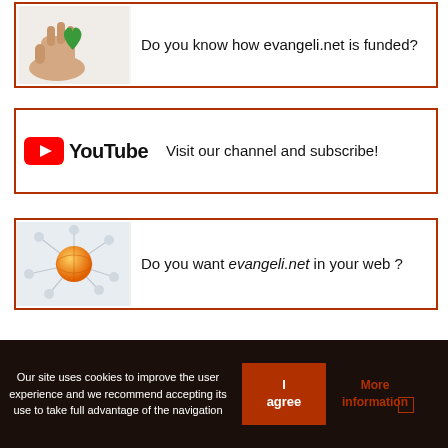[Figure (photo): Card with hand holding a green heart and text: Do you know how evangeli.net is funded?]
[Figure (logo): Card with YouTube logo and text: Visit our channel and subscribe!]
[Figure (illustration): Card with network/globe illustration and text: Do you want evangeli.net in your web?]
Our site uses cookies to improve the user experience and we recommend accepting its use to take full advantage of the navigation
I agree
More information